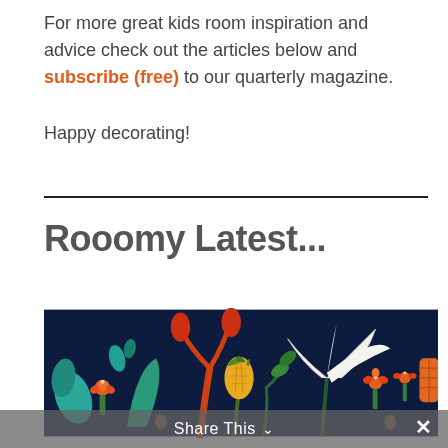For more great kids room inspiration and advice check out the articles below and subscribe (free) to our quarterly magazine.
Happy decorating!
Rooomy Latest...
[Figure (illustration): Colorful folk-art style illustration of tropical flowers, leaves, and a white lily on a dark navy blue background with orange, teal, and yellow botanical motifs.]
Share This ∨